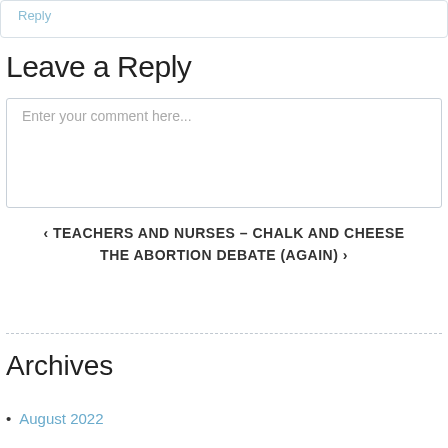Reply
Leave a Reply
Enter your comment here...
‹ TEACHERS AND NURSES – CHALK AND CHEESE
THE ABORTION DEBATE (AGAIN) ›
Archives
August 2022